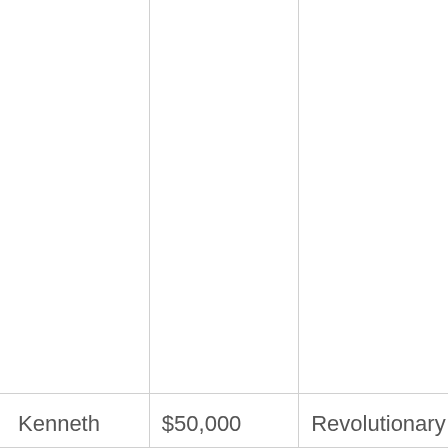|  |  |  |
| Kenneth | $50,000 | Revolutionary |